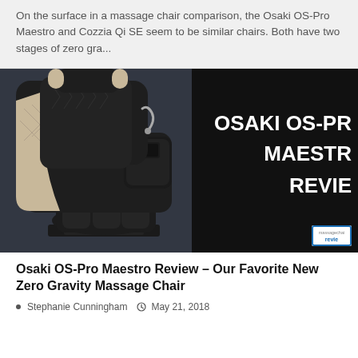On the surface in a massage chair comparison, the Osaki OS-Pro Maestro and Cozzia Qi SE seem to be similar chairs. Both have two stages of zero gra...
[Figure (photo): Photo of the Osaki OS-Pro Maestro massage chair (black and beige) with white bold text overlay reading 'OSAKI OS-PRO MAESTRO REVIEW' on a dark background, with a massagechairreviews badge in the bottom right corner.]
Osaki OS-Pro Maestro Review – Our Favorite New Zero Gravity Massage Chair
Stephanie Cunningham  •  May 21, 2018